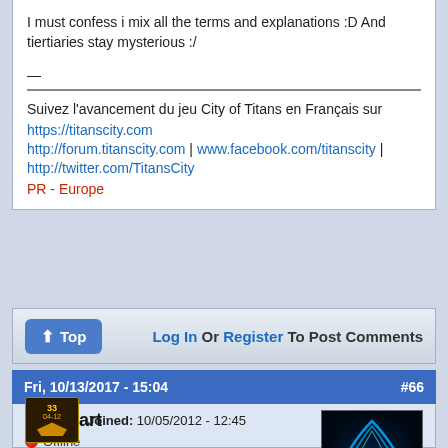I must confess i mix all the terms and explanations :D And tiertiaries stay mysterious :/
—
Suivez l'avancement du jeu City of Titans en Français sur https://titanscity.com http://forum.titanscity.com | www.facebook.com/titanscity | http://twitter.com/TitansCity PR - Europe
Log In Or Register To Post Comments
Fri, 10/13/2017 - 15:04  #66
Fireheart
Offline
Last seen: 1 day 1 hour ago
Joined: 10/05/2012 - 12:45